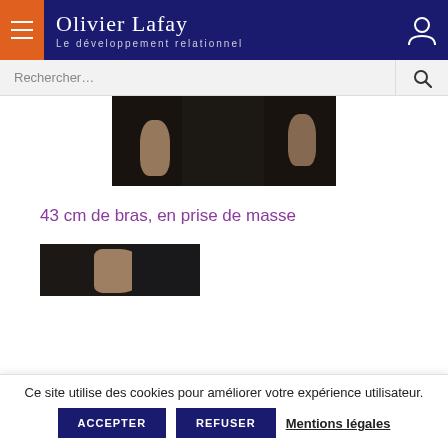Olivier Lafay — Le développement relationnel
[Figure (photo): Partial photo of a person wearing dark clothing, upper torso area, dimly lit]
43 cm de bras, en prise de masse
[Figure (photo): Partial photo of a person's arm/shoulder, dimly lit]
Ce site utilise des cookies pour améliorer votre expérience utilisateur.
ACCEPTER   REFUSER   Mentions légales